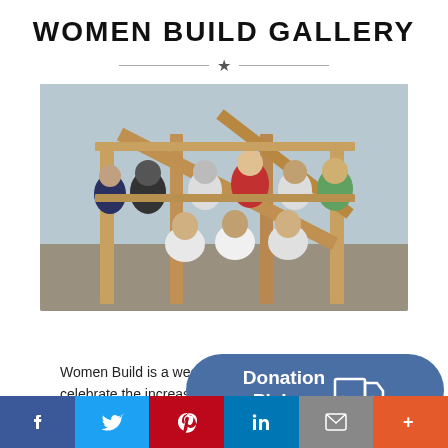WOMEN BUILD GALLERY
[Figure (photo): Group photo of women volunteers posing inside the wooden frame structure of a house under construction at a Habitat for Humanity Women Build event. Women are wearing matching white t-shirts with a green logo. Three women kneel in the front row, several stand in the back rows. A large diagonal wooden beam crosses the upper portion of the image.]
Women Build is a week lo… celebrate the increase … trades and joining Habit…
[Figure (infographic): Donation Pickup button overlay with truck icon on blue rounded rectangle background]
[Figure (infographic): Social sharing bar at the bottom with Facebook, Twitter, Pinterest, LinkedIn, Email, and More buttons]